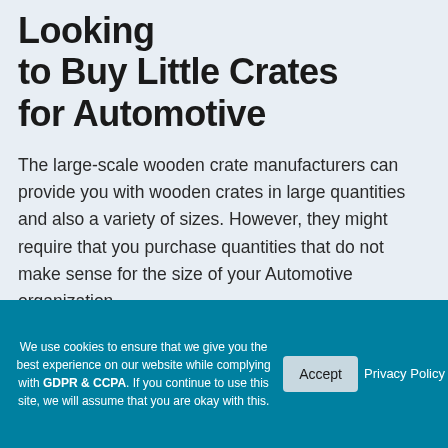What to Think About when Looking to Buy Little Crates for Automotive
The large-scale wooden crate manufacturers can provide you with wooden crates in large quantities and also a variety of sizes. However, they might require that you purchase quantities that do not make sense for the size of your Automotive organization.
We use cookies to ensure that we give you the best experience on our website while complying with GDPR & CCPA. If you continue to use this site, we will assume that you are okay with this.